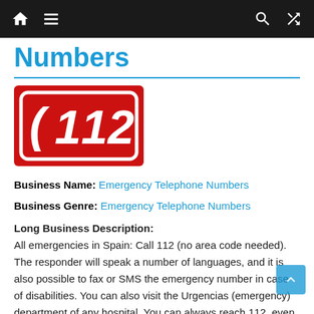Navigation bar with home, menu, search, and shuffle icons
Numbers
[Figure (logo): Red background logo with white telephone handset icon and white text '112' inside a rounded rectangle border]
Business Name: Emergency Telephone Numbers
Business Genre: Emergency Telephone Numbers
Long Business Description:
All emergencies in Spain: Call 112 (no area code needed). The responder will speak a number of languages, and it is also possible to fax or SMS the emergency number in case of disabilities. You can also visit the Urgencias (emergency) department of any hospital. You can always reach 112, even on a mobile phone without a Spanish SIM card.